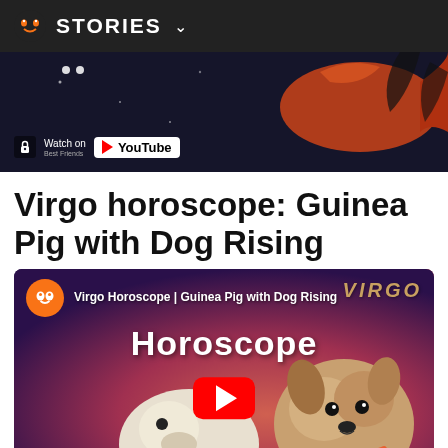STORIES
[Figure (screenshot): Video thumbnail showing fish/bird imagery with Watch on YouTube overlay button]
Virgo horoscope: Guinea Pig with Dog Rising
[Figure (screenshot): YouTube video thumbnail for Virgo Horoscope | Guinea Pig with Dog Rising, showing Best Friends Animal Society logo, VIRGO text, Horoscope title, guinea pig and dog photos, and YouTube play button]